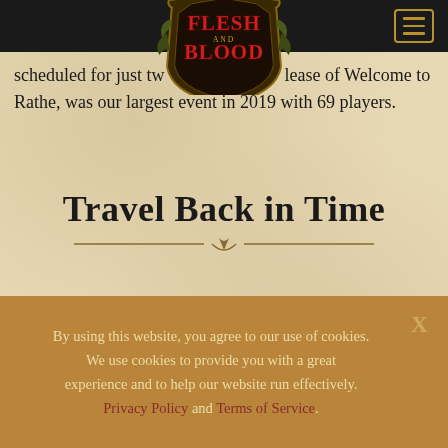Flesh and Blood [logo/nav bar]
scheduled for just two ... lease of Welcome to Rathe, was our largest event in 2019 with 69 players.
Travel Back in Time
[Figure (photo): Dark fantasy image strip showing a dimly lit scene]
By using this website, you agree to our use of cookies. We use cookies to provide you with a great experience and to help our website run effectively. Privacy Policy and Terms of Service.